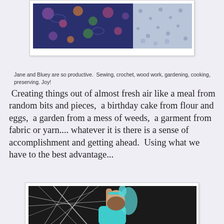[Figure (photo): Top portion of a photo showing colorful patterned fabric — a dark blue floral/paisley fabric and a lighter fabric with small prints]
Jane and Bluey are so productive.  Sewing, crochet, wood work, gardening, cooking, preserving. Joy!
Creating things out of almost fresh air like a meal from random bits and pieces,  a birthday cake from flour and eggs,  a garden from a mess of weeds,  a garment from fabric or yarn.... whatever it is there is a sense of accomplishment and getting ahead.  Using what we have to the best advantage...
[Figure (photo): A young girl wearing a teal/turquoise fairy or princess costume with butterfly wings and a headband, reaching up to touch a white spiderweb decoration against a dark background]